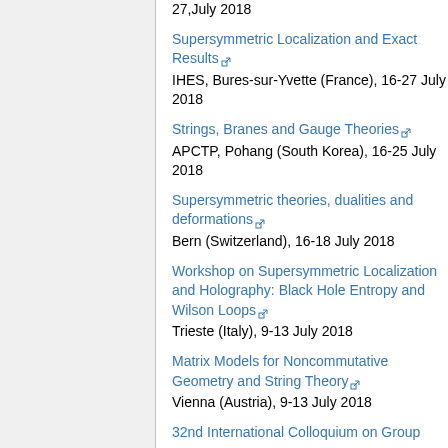27,July 2018
Supersymmetric Localization and Exact Results [external link]
IHES, Bures-sur-Yvette (France), 16-27 July 2018
Strings, Branes and Gauge Theories [external link]
APCTP, Pohang (South Korea), 16-25 July 2018
Supersymmetric theories, dualities and deformations [external link]
Bern (Switzerland), 16-18 July 2018
Workshop on Supersymmetric Localization and Holography: Black Hole Entropy and Wilson Loops [external link]
Trieste (Italy), 9-13 July 2018
Matrix Models for Noncommutative Geometry and String Theory [external link]
Vienna (Austria), 9-13 July 2018
32nd International Colloquium on Group...